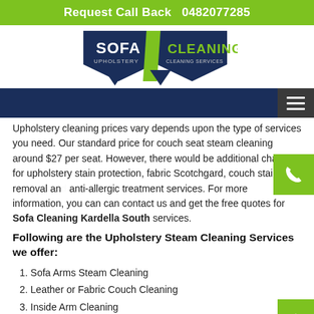Request Call Back   0482077285
[Figure (logo): Sofa Cleaning Upholstery Cleaning Services logo with dark blue shield/arrow shapes and green-yellow accent]
Upholstery cleaning prices vary depends upon the type of services you need. Our standard price for couch seat steam cleaning around $27 per seat. However, there would be additional charges for upholstery stain protection, fabric Scotchgard, couch stain removal and anti-allergic treatment services. For more information, you can can contact us and get the free quotes for Sofa Cleaning Kardella South services.
Following are the Upholstery Steam Cleaning Services we offer:
1. Sofa Arms Steam Cleaning
2. Leather or Fabric Couch Cleaning
3. Inside Arm Cleaning
4. Three Pillow Steam Cleaning